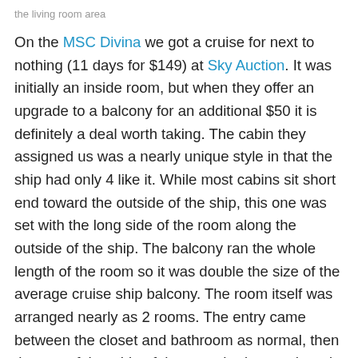the living room area
On the MSC Divina we got a cruise for next to nothing (11 days for $149) at Sky Auction. It was initially an inside room, but when they offer an upgrade to a balcony for an additional $50 it is definitely a deal worth taking. The cabin they assigned us was a nearly unique style in that the ship had only 4 like it. While most cabins sit short end toward the outside of the ship, this one was set with the long side of the room along the outside of the ship. The balcony ran the whole length of the room so it was double the size of the average cruise ship balcony. The room itself was arranged nearly as 2 rooms. The entry came between the closet and bathroom as normal, then the rest of that side of the room had a couch and TV with an opening into a second area nearly a room into itself with the bed and another TV. Best balcony room we ever had, almost like